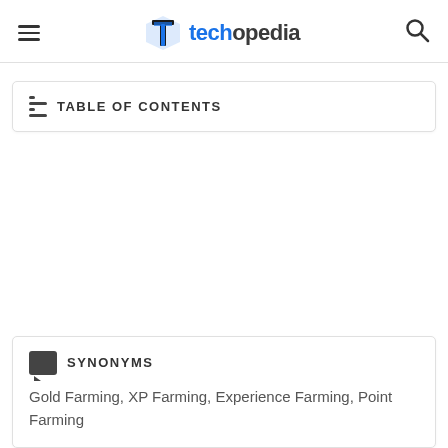techopedia
TABLE OF CONTENTS
SYNONYMS
Gold Farming, XP Farming, Experience Farming, Point Farming